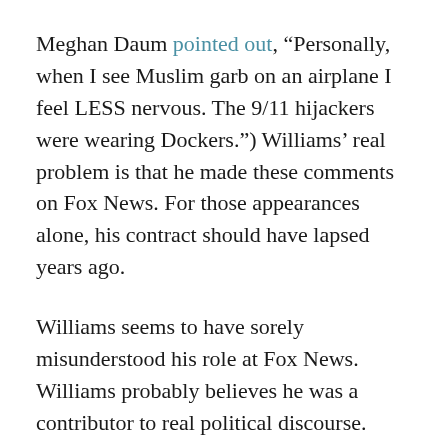Meghan Daum pointed out, “Personally, when I see Muslim garb on an airplane I feel LESS nervous. The 9/11 hijackers were wearing Dockers.”) Williams’ real problem is that he made these comments on Fox News. For those appearances alone, his contract should have lapsed years ago.
Williams seems to have sorely misunderstood his role at Fox News. Williams probably believes he was a contributor to real political discourse. More likely, Fox needed him to merely to show up and be African American, making doubly sure to identify himself as an NPR host (something NPR asked him to stop doing in 2009 after he went on O’Reilly and said Michelle Obama was “Stokely Carmichael in a